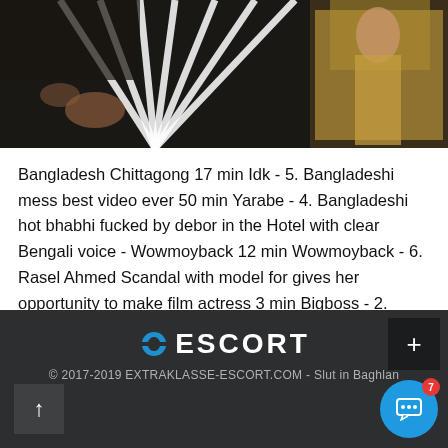[Figure (photo): Two people in dark clothing, left side shows black and white striped fabric, right side shows a person in gold/bronze clothing]
Bangladesh Chittagong 17 min Idk - 5. Bangladeshi mess best video ever 50 min Yarabe - 4. Bangladeshi hot bhabhi fucked by debor in the Hotel with clear Bengali voice - Wowmoyback 12 min Wowmoyback - 6. Rasel Ahmed Scandal with model for gives her opportunity to make film actress 3 min Bigboss - 2. Bangladeshi bangla sexy girl with voice 3 min Vuda Sama - Bangladeshi aunt getting exposed and fucked while cheatting by her colleague 14 min Myhotplace - 3.
ESCORT © 2017-2019 EXTRAKLASSE-ESCORT.COM - Slut in Baghlan